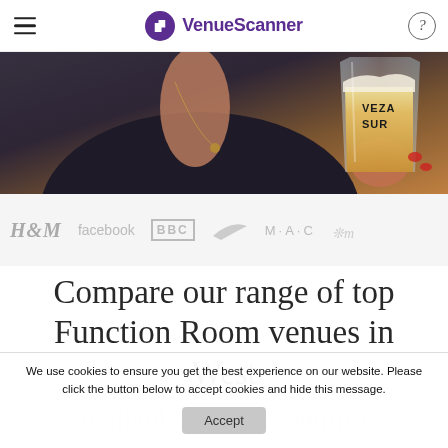VenueScanner
[Figure (photo): Close-up photo of a person in a dark outfit holding a beer glass with 'VEZA SUR' branding, warm amber tones]
[Figure (infographic): Brand logos strip showing H&M, facebook, BBC, Nike swoosh, MAC, and another brand in grey on light grey background]
Compare our range of top Function Room venues in West
We use cookies to ensure you get the best experience on our website. Please click the button below to accept cookies and hide this message.